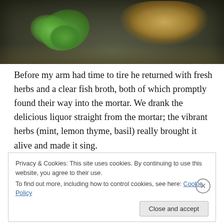[Figure (photo): Close-up photo of a dark stone mortar containing herbs (green leaves), sesame seeds, and spices with some liquid/broth]
Before my arm had time to tire he returned with fresh herbs and a clear fish broth, both of which promptly found their way into the mortar. We drank the delicious liquor straight from the mortar; the vibrant herbs (mint, lemon thyme, basil) really brought it alive and made it sing.
Privacy & Cookies: This site uses cookies. By continuing to use this website, you agree to their use.
To find out more, including how to control cookies, see here: Cookie Policy